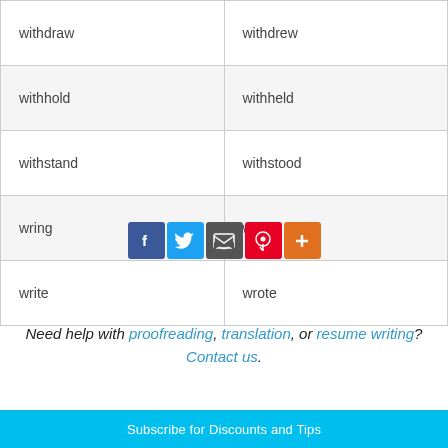| withdraw | withdrew |
| withhold | withheld |
| withstand | withstood |
| wring | wrung |
| write | wrote |
[Figure (infographic): Social share buttons: Facebook (blue), Twitter (light blue), Email/share (dark gray), Pinterest (red), Plus/more (orange)]
Need help with proofreading, translation, or resume writing? Contact us.
Subscribe for Discounts and Tips